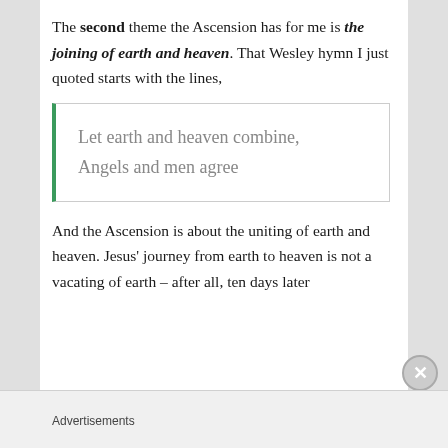The second theme the Ascension has for me is the joining of earth and heaven. That Wesley hymn I just quoted starts with the lines,
Let earth and heaven combine,
Angels and men agree
And the Ascension is about the uniting of earth and heaven. Jesus' journey from earth to heaven is not a vacating of earth – after all, ten days later
Advertisements